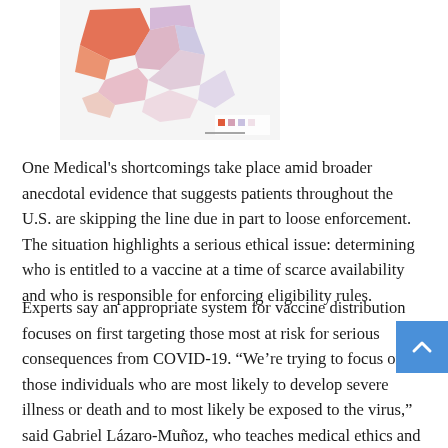[Figure (map): Partial view of a color-coded map showing geographic regions, with areas in red/orange, pink/purple, and light purple tones. A small legend appears at bottom right of the map.]
One Medical's shortcomings take place amid broader anecdotal evidence that suggests patients throughout the U.S. are skipping the line due in part to loose enforcement. The situation highlights a serious ethical issue: determining who is entitled to a vaccine at a time of scarce availability and who is responsible for enforcing eligibility rules.
Experts say an appropriate system for vaccine distribution focuses on first targeting those most at risk for serious consequences from COVID-19. “We’re trying to focus on those individuals who are most likely to develop severe illness or death and to most likely be exposed to the virus,” said Gabriel Lázaro-Muñoz, who teaches medical ethics and health policy at the Baylor College of Medicine.